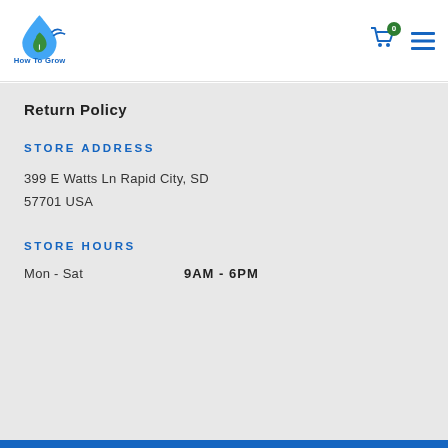[Figure (logo): How To Grow logo with droplet and plant leaf icon in blue and green, with text 'How To Grow' in blue below]
Return Policy
STORE ADDRESS
399 E Watts Ln Rapid City, SD 57701 USA
STORE HOURS
Mon - Sat    9AM - 6PM